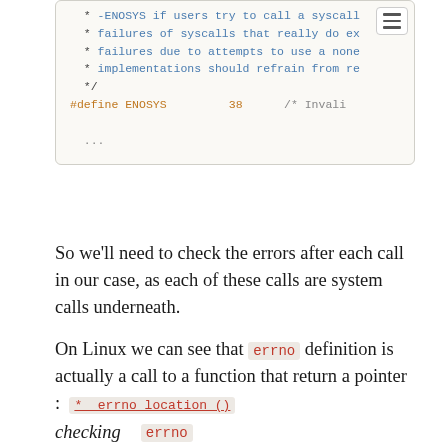[Figure (screenshot): Code snippet showing C header file excerpt with ENOSYS define. Lines include bullet comments about syscall failures, #define ENOSYS 38 with comment Invalid..., and ellipsis. Has menu icon in top right corner.]
So we'll need to check the errors after each call in our case, as each of these calls are system calls underneath.
On Linux we can see that errno definition is actually a call to a function that return a pointer : *__errno_location ()
checking errno